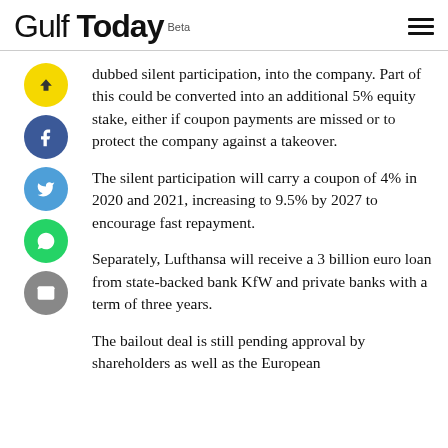Gulf Today Beta
dubbed silent participation, into the company. Part of this could be converted into an additional 5% equity stake, either if coupon payments are missed or to protect the company against a takeover.
The silent participation will carry a coupon of 4% in 2020 and 2021, increasing to 9.5% by 2027 to encourage fast repayment.
Separately, Lufthansa will receive a 3 billion euro loan from state-backed bank KfW and private banks with a term of three years.
The bailout deal is still pending approval by shareholders as well as the European